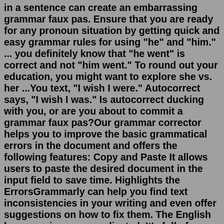in a sentence can create an embarrassing grammar faux pas. Ensure that you are ready for any pronoun situation by getting quick and easy grammar rules for using "he" and "him." ... you definitely know that "he went" is correct and not "him went." To round out your education, you might want to explore she vs. her ...You text, "I wish I were." Autocorrect says, "I wish I was." Is autocorrect ducking with you, or are you about to commit a grammar faux pas?Our grammar corrector helps you to improve the basic grammatical errors in the document and offers the following features: Copy and Paste It allows users to paste the desired document in the input field to save time. Highlights the ErrorsGrammarly can help you find text inconsistencies in your writing and even offer suggestions on how to fix them. The English language is very complicated. It’s full of inconsistencies and exceptions. Sometimes, English grammar seems to break its own rules! Grammarly is a great tool for helping writers learn best practices for grammar. Using correct grammar shows attention